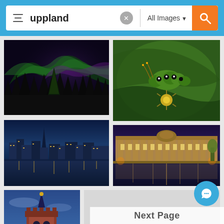Search interface showing 'uppland' image search with 'All Images' filter and orange search button
[Figure (screenshot): Mobile image search UI with search bar containing filter icon, 'uppland' search text, clear button, 'All Images' dropdown, and orange search button on blue background]
[Figure (photo): Aurora borealis / northern lights over silhouetted trees at night with green and purple hues]
[Figure (photo): Close-up macro photo of a green caterpillar on a flower with dark background of green leaves]
[Figure (photo): City skyline at night reflected in water, blue hour, with church spire visible]
[Figure (photo): Illuminated classical parliament or government building reflected in water at night]
[Figure (photo): Historic tower building (Stockholm City Hall style) at dusk with blue sky]
Next Page